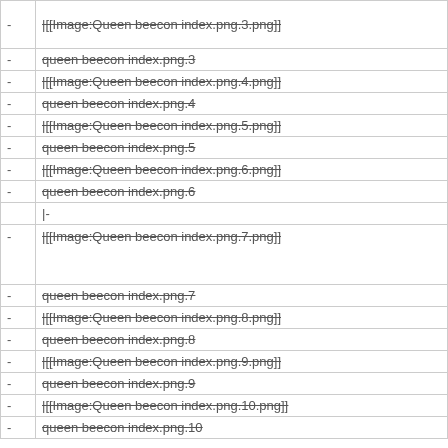| - | |[[Image:Queen beecon index.png.3.png]] |
| - | queen beecon index.png.3 |
| - | |[[Image:Queen beecon index.png.4.png]] |
| - | queen beecon index.png.4 |
| - | |[[Image:Queen beecon index.png.5.png]] |
| - | queen beecon index.png.5 |
| - | |[[Image:Queen beecon index.png.6.png]] |
| - | queen beecon index.png.6 |
|  | |- |
| - | |[[Image:Queen beecon index.png.7.png]] |
| - | queen beecon index.png.7 |
| - | |[[Image:Queen beecon index.png.8.png]] |
| - | queen beecon index.png.8 |
| - | |[[Image:Queen beecon index.png.9.png]] |
| - | queen beecon index.png.9 |
| - | |[[Image:Queen beecon index.png.10.png]] |
| - | queen beecon index.png.10 |